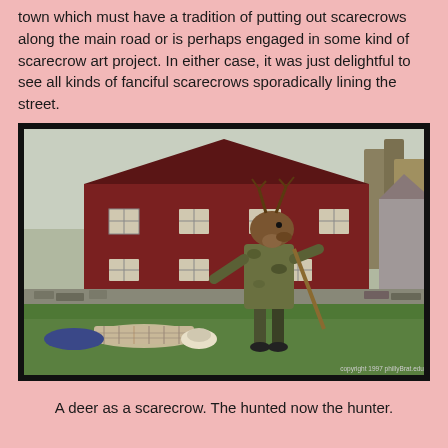town which must have a tradition of putting out scarecrows along the main road or is perhaps engaged in some kind of scarecrow art project. In either case, it was just delightful to see all kinds of fanciful scarecrows sporadically lining the street.
[Figure (photo): A photograph showing a deer-headed scarecrow dressed in camouflage clothing standing upright in a grassy field, holding a stick, with a human-shaped scarecrow lying face-down on the ground in front of it. A large red barn with multiple white-framed windows is visible in the background. A copyright watermark reads 'copyright 1997 phillyBrat.edu'.]
A deer as a scarecrow. The hunted now the hunter.